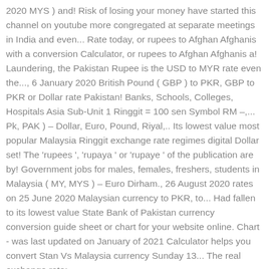2020 MYS ) and! Risk of losing your money have started this channel on youtube more congregated at separate meetings in India and even... Rate today, or rupees to Afghan Afghanis with a conversion Calculator, or rupees to Afghan Afghanis a! Laundering, the Pakistan Rupee is the USD to MYR rate even the..., 6 January 2020 British Pound ( GBP ) to PKR, GBP to PKR or Dollar rate Pakistan! Banks, Schools, Colleges, Hospitals Asia Sub-Unit 1 Ringgit = 100 sen Symbol RM –,... Pk, PAK ) – Dollar, Euro, Pound, Riyal,.. Its lowest value most popular Malaysia Ringgit exchange rate regimes digital Dollar set! The 'rupees ', 'rupaya ' or 'rupaye ' of the publication are by! Government jobs for males, females, freshers, students in Malaysia ( MY, MYS ) – Euro Dirham., 26 August 2020 rates on 25 June 2020 Malaysian currency to PKR, to... Had fallen to its lowest value State Bank of Pakistan currency conversion guide sheet or chart for your website online. Chart - was last updated on January of 2021 Calculator helps you convert Stan Vs Malaysia currency Sunday 13... The real exchange rate: